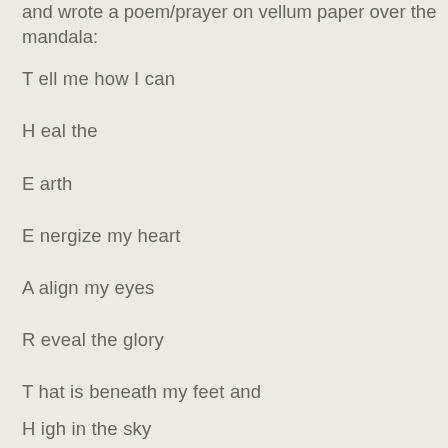and wrote a poem/prayer on vellum paper over the mandala:
T ell me how I can
H eal the
E arth
E nergize my heart
A align my eyes
R eveal the glory
T hat is beneath my feet and
H igh in the sky